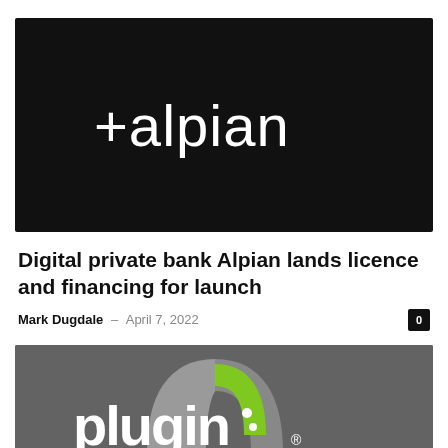[Figure (logo): Alpian digital bank logo — white text '+alpian' on black background]
Digital private bank Alpian lands licence and financing for launch
Mark Dugdale – April 7, 2022
[Figure (logo): Plugin logo — grey background with grey and green arch icon and white text 'plugin']